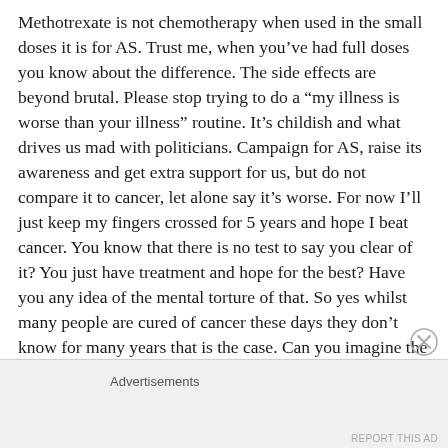Methotrexate is not chemotherapy when used in the small doses it is for AS. Trust me, when you've had full doses you know about the difference. The side effects are beyond brutal. Please stop trying to do a “my illness is worse than your illness” routine. It’s childish and what drives us mad with politicians. Campaign for AS, raise its awareness and get extra support for us, but do not compare it to cancer, let alone say it’s worse. For now I’ll just keep my fingers crossed for 5 years and hope I beat cancer. You know that there is no test to say you clear of it? You just have treatment and hope for the best? Have you any idea of the mental torture of that. So yes whilst many people are cured of cancer these days they don’t know for many years that is the case. Can you imagine the toll that takes?
Advertisements